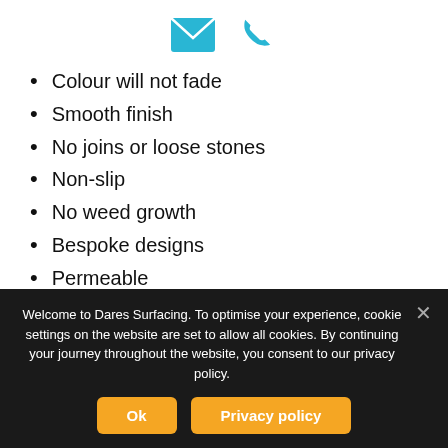[Figure (illustration): Two teal/cyan icons: an envelope (email) icon and a telephone handset (phone) icon, centered at the top of the page.]
Colour will not fade
Smooth finish
No joins or loose stones
Non-slip
No weed growth
Bespoke designs
Permeable
Resistant to petrol, diesel and oil
Very hard-wearing
Resistant to oil and weed growth
Welcome to Dares Surfacing. To optimise your experience, cookie settings on the website are set to allow all cookies. By continuing your journey throughout the website, you consent to our privacy policy.